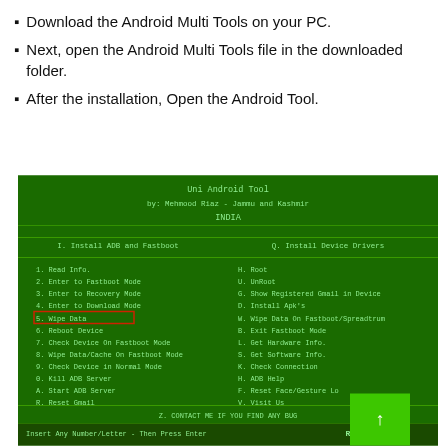Download the Android Multi Tools on your PC.
Next, open the Android Multi Tools file in the downloaded folder.
After the installation, Open the Android Tool.
[Figure (screenshot): Screenshot of Uni Android Tool menu interface with green background showing various options including Install ADB and Fastboot, Read Info, Enter to Fastboot Mode, Enter to Recovery Mode, Enter to Download Mode, Wipe Data (highlighted in red box), Reboot Device, Check Device On Fastboot Mode, Wipe Data/Cache On Fastboot Mode, Check Device in Normal Mode, Kill ADB Server, Start ADB Server, Reset Gmail, and corresponding right-side options. Bottom shows 'Insert Any Number/Letter - Then Press Enter' prompt and ResetFree.com branding.]